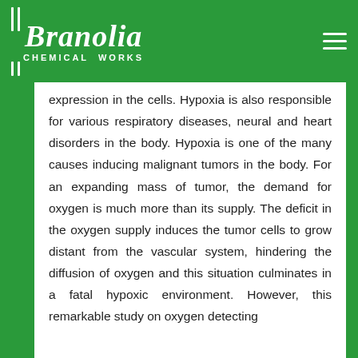[Figure (logo): Branolia Chemical Works logo — white italic script text with double-pipe symbol on green background, with hamburger menu icon on the right]
expression in the cells. Hypoxia is also responsible for various respiratory diseases, neural and heart disorders in the body. Hypoxia is one of the many causes inducing malignant tumors in the body. For an expanding mass of tumor, the demand for oxygen is much more than its supply. The deficit in the oxygen supply induces the tumor cells to grow distant from the vascular system, hindering the diffusion of oxygen and this situation culminates in a fatal hypoxic environment. However, this remarkable study on oxygen detecting